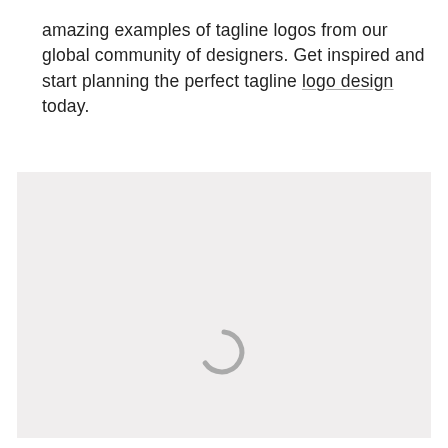amazing examples of tagline logos from our global community of designers. Get inspired and start planning the perfect tagline logo design today.
[Figure (other): A light gray placeholder image area with a loading spinner (arc/circle) centered near the bottom, indicating content is still loading.]